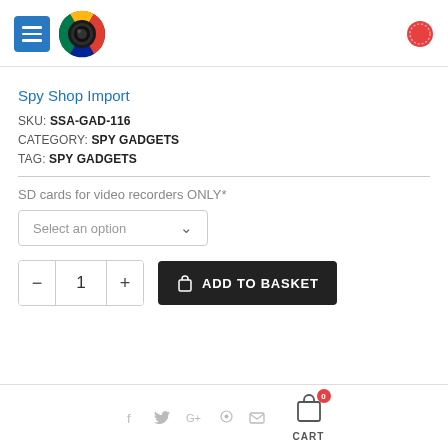[Figure (logo): Blue hamburger menu button and circular South Africa flag camera lens logo]
[Figure (logo): Red circular cart/badge icon top right]
Spy Shop Import
SKU: SSA-GAD-116
CATEGORY: SPY GADGETS
TAG: SPY GADGETS
SD cards for video recorders ONLY*
Select an option
1  ADD TO BASKET
CART